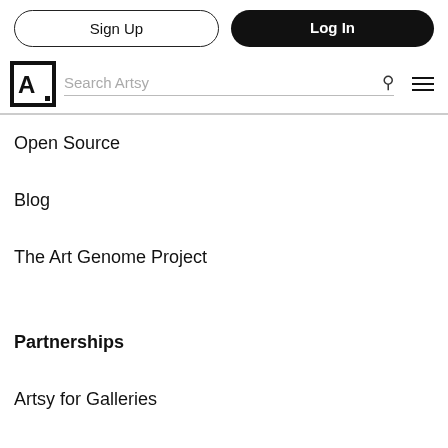Sign Up | Log In
[Figure (screenshot): Artsy logo with letter A in a square border]
Search Artsy
Open Source
Blog
The Art Genome Project
Partnerships
Artsy for Galleries
Artsy for Museums
Artsy for Auctions